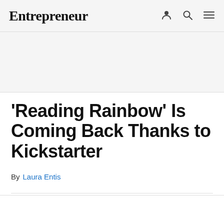Entrepreneur
'Reading Rainbow' Is Coming Back Thanks to Kickstarter
By  Laura Entis
Opinions expressed by Entrepreneur contributors are their